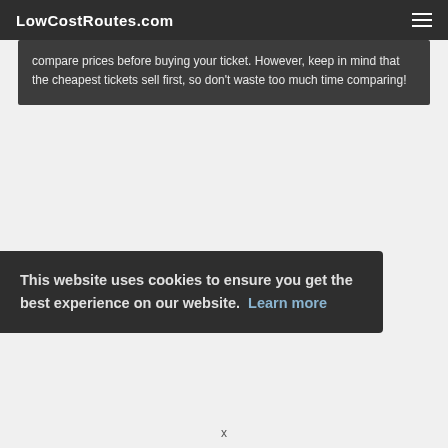LowCostRoutes.com
compare prices before buying your ticket. However, keep in mind that the cheapest tickets sell first, so don't waste too much time comparing!
This website uses cookies to ensure you get the best experience on our website. Learn more